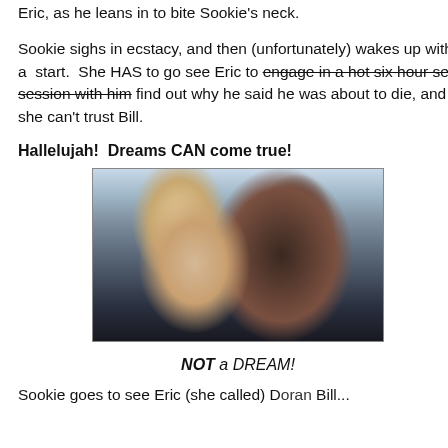Eric, as he leans in to bite Sookie's neck.
Sookie sighs in ecstacy, and then (unfortunately) wakes up with a  start.  She HAS to go see Eric to engage in a hot six hour sex session with him find out why he said he was about to die, and she can't trust Bill.
Hallelujah!  Dreams CAN come true!
[Figure (photo): Photo of two people kissing closely, a blonde woman and a dark-haired man, appearing to be from a TV show scene.]
NOT a DREAM!
Sookie goes to see Eric (she called) Doran Bill...